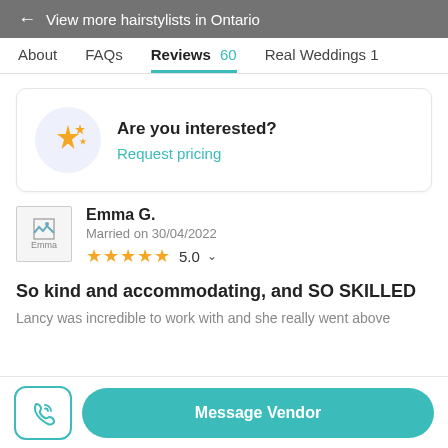← View more hairstylists in Ontario
About   FAQs   Reviews 60   Real Weddings 1
Are you interested?
Request pricing
Emma G.
Married on 30/04/2022
★★★★★ 5.0
So kind and accommodating, and SO SKILLED
Lancy was incredible to work with and she really went above
Message Vendor